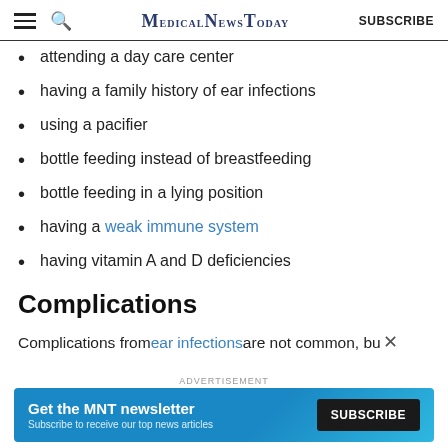MedicalNewsToday SUBSCRIBE
attending a day care center
having a family history of ear infections
using a pacifier
bottle feeding instead of breastfeeding
bottle feeding in a lying position
having a weak immune system
having vitamin A and D deficiencies
Complications
Complications from ear infections are not common, bu
[Figure (infographic): MNT newsletter advertisement banner: Get the MNT newsletter. Subscribe to receive our top news articles. SUBSCRIBE button.]